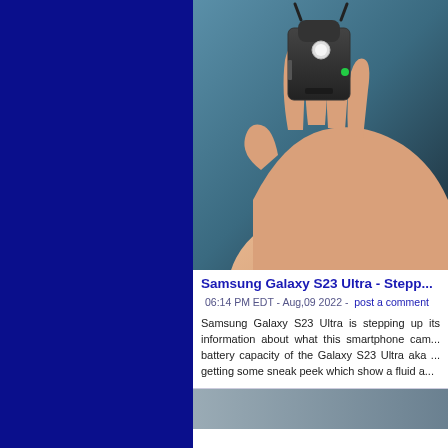[Figure (photo): A hand holding a small dark electronic device (wireless microphone or similar gadget) against a blurred blue-grey background. The device has a white LED and green LED indicator.]
Samsung Galaxy S23 Ultra - Stepp...
06:14 PM EDT - Aug,09 2022 -  post a comment
Samsung Galaxy S23 Ultra is stepping up its information about what this smartphone cam... battery capacity of the Galaxy S23 Ultra aka ... getting some sneak peek which show a fluid a...
[Figure (photo): A second article image partially visible at the bottom of the page.]